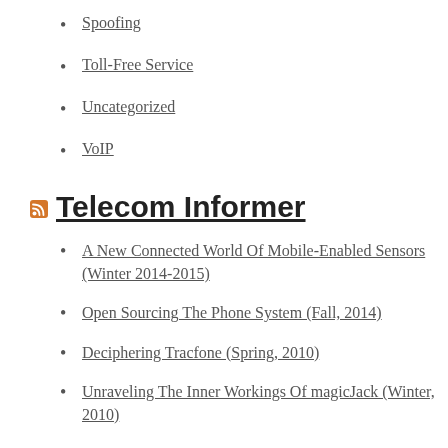Spoofing
Toll-Free Service
Uncategorized
VoIP
Telecom Informer
A New Connected World Of Mobile-Enabled Sensors (Winter 2014-2015)
Open Sourcing The Phone System (Fall, 2014)
Deciphering Tracfone (Spring, 2010)
Unraveling The Inner Workings Of magicJack (Winter, 2010)